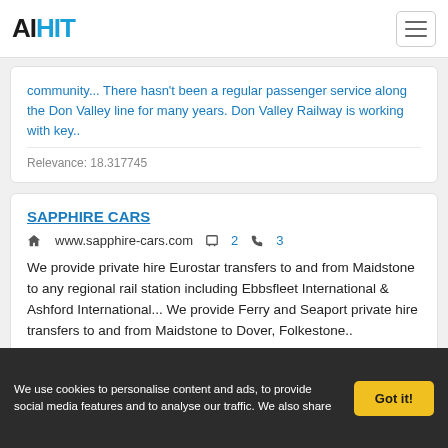AIHIT
community... There hasn't been a regular passenger service along the Don Valley line for many years. Don Valley Railway is working with key..
Relevance: 18.317745
SAPPHIRE CARS
www.sapphire-cars.com  2  3
We provide private hire Eurostar transfers to and from Maidstone to any regional rail station including Ebbsfleet International & Ashford International... We provide Ferry and Seaport private hire transfers to and from Maidstone to Dover, Folkestone..
Relevance: 18.090252
We use cookies to personalise content and ads, to provide social media features and to analyse our traffic. We also share